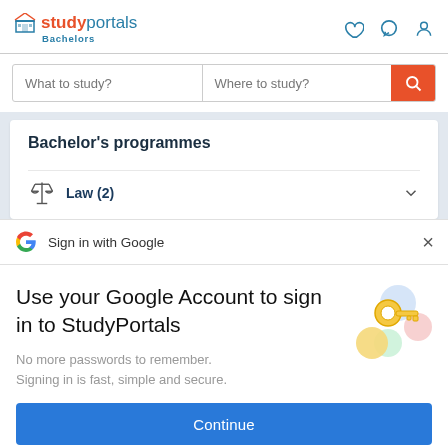[Figure (logo): StudyPortals Bachelors logo with building icon in teal/orange, heart, chat, and user icons top right]
What to study?
Where to study?
Bachelor's programmes
Law (2)
Sign in with Google
Use your Google Account to sign in to StudyPortals
No more passwords to remember. Signing in is fast, simple and secure.
[Figure (illustration): Colorful Google sign-in key illustration with circles in blue, pink, green and gold key]
Continue